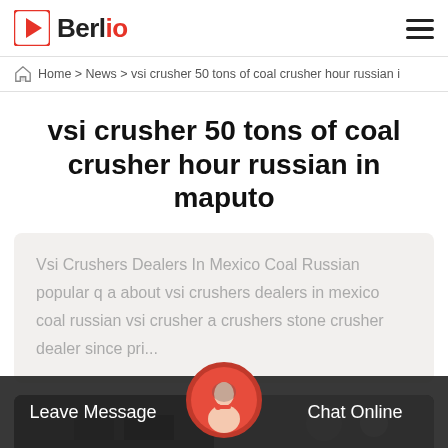Berlio
Home > News > vsi crusher 50 tons of coal crusher hour russian i
vsi crusher 50 tons of coal crusher hour russian in maputo
Vsi Crushers Dealers In Mexico Coal Russian popular q a about vsi crushers dealers in mexico coal russian vsi crusher a crushers stone crusher dealer since pri...
[Figure (photo): Article image strip at bottom of page showing industrial equipment, partially visible]
Leave Message
Chat Online